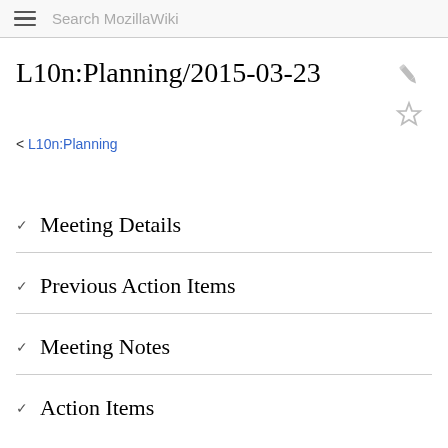Search MozillaWiki
L10n:Planning/2015-03-23
< L10n:Planning
Meeting Details
Previous Action Items
Meeting Notes
Action Items